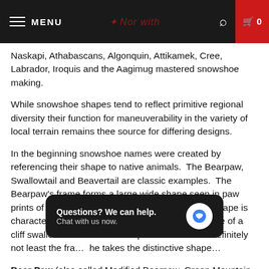MENU | [logo] | [search] | 0
Naskapi, Athabascans, Algonquin, Attikamek, Cree, Labrador, Iroquis and the Aagimug mastered snowshoe making.
While snowshoe shapes tend to reflect primitive regional diversity their function for maneuverability in the variety of local terrain remains thee source for differing designs.
In the beginning snowshoe names were created by referencing their shape to native animals.  The Bearpaw, Swallowtail and Beavertail are classic examples.  The Bearpaw's frame forms a large wide shape seen in paw prints of forest dwelling bears.  The Swallowtail's shape is characteristic of many birds but I think the silhouette of a cliff swallow embodies this shape best.  Last but definitely not least the fra… he takes the distinctive shape…
[Figure (other): Chat popup overlay: 'Questions? We can help. Chat with us now.' with a blue speech bubble icon on dark background.]
Bear Paw (also called Modified Bearpaw, Green Mountain…